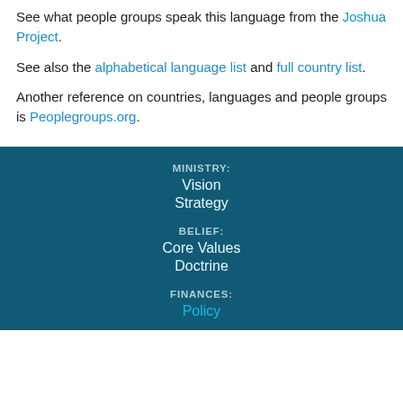See what people groups speak this language from the Joshua Project.
See also the alphabetical language list and full country list.
Another reference on countries, languages and people groups is Peoplegroups.org.
MINISTRY: Vision Strategy BELIEF: Core Values Doctrine FINANCES: Policy